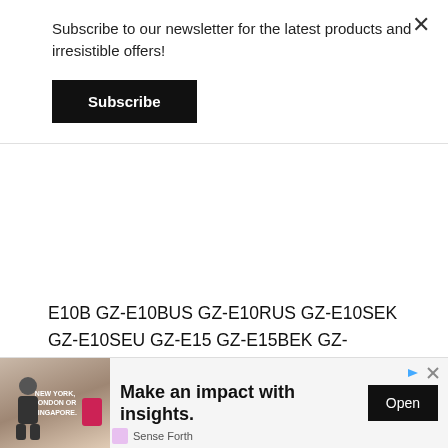Subscribe to our newsletter for the latest products and irresistible offers!
Subscribe
E10B GZ-E10BUS GZ-E10RUS GZ-E10SEK GZ-E10SEU GZ-E15 GZ-E15BEK GZ-E15BEU GZ-E200 GZ-E200AU GZ-E200AUS GZ-E200BE GZ-E200BEK GZ-E200BEU GZ-E200BU GZ-E200BUS GZ-E200RU GZ-E200RUS GZ-E200WE GZ-E205 GZ-E205B GZ-E205BE GZ-E205BEK GZ-E205BEU GZ-E205RE GZ-E205REK GZ-E205SEK GZ-E205WE GZ-E205WEK GZ-E205WEU GZ-E208 GZ-E220 GZ-E220-B GZ-E220-S GZ-
use cookies to ensure that we give you the best experience on
Make an impact with insights.
Open
Sense Forth